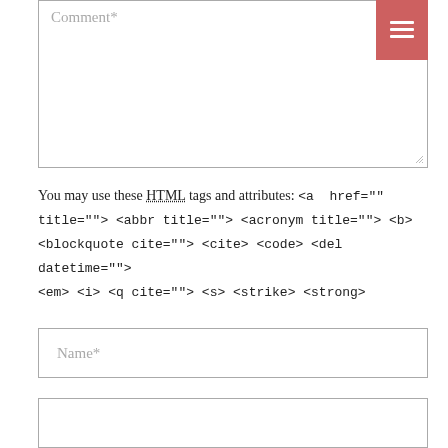Comment*
You may use these HTML tags and attributes: <a href="" title=""> <abbr title=""> <acronym title=""> <b> <blockquote cite=""> <cite> <code> <del datetime=""> <em> <i> <q cite=""> <s> <strike> <strong>
Name*